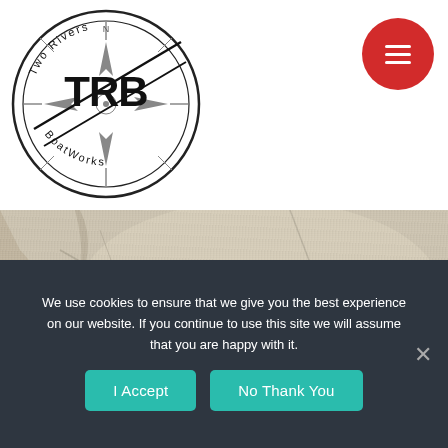[Figure (logo): Two Rivers BoatWorks circular compass logo with TRB text in bold]
[Figure (photo): Close-up photograph of a concrete or pavement surface with light shadow patterns]
SEAARK
We removed a Yamaha 150hp and repowered with a brand new Mercury Marine 175hp ProXS.
We use cookies to ensure that we give you the best experience on our website. If you continue to use this site we will assume that you are happy with it.